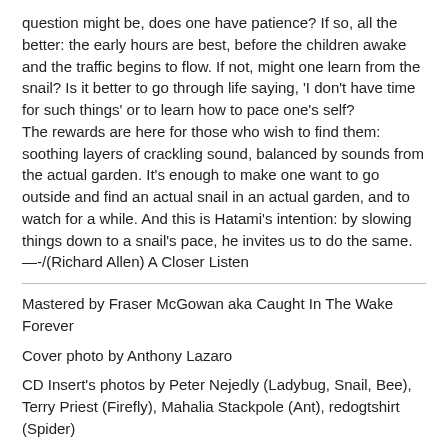question might be, does one have patience? If so, all the better: the early hours are best, before the children awake and the traffic begins to flow. If not, might one learn from the snail? Is it better to go through life saying, 'I don't have time for such things' or to learn how to pace one's self?
The rewards are here for those who wish to find them: soothing layers of crackling sound, balanced by sounds from the actual garden. It's enough to make one want to go outside and find an actual snail in an actual garden, and to watch for a while. And this is Hatami's intention: by slowing things down to a snail's pace, he invites us to do the same. —-/(Richard Allen) A Closer Listen
Mastered by Fraser McGowan aka Caught In The Wake Forever
Cover photo by Anthony Lazaro
CD Insert's photos by Peter Nejedly (Ladybug, Snail, Bee), Terry Priest (Firefly), Mahalia Stackpole (Ant), redogtshirt (Spider)